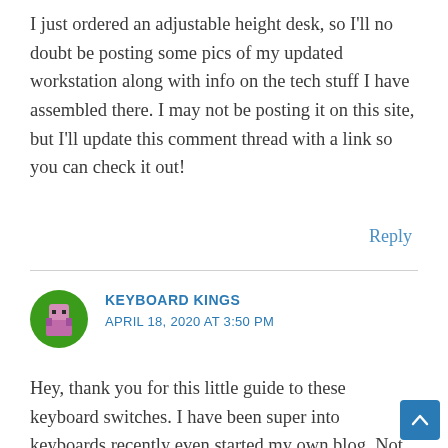I just ordered an adjustable height desk, so I'll no doubt be posting some pics of my updated workstation along with info on the tech stuff I have assembled there. I may not be posting it on this site, but I'll update this comment thread with a link so you can check it out!
Reply
[Figure (illustration): Pixel art avatar icon — green circle background with a pink/purple pixel character in the center]
KEYBOARD KINGS
APRIL 18, 2020 AT 3:50 PM
Hey, thank you for this little guide to these keyboard switches. I have been super into keyboards recently even started my own blog. Not just on mechanical ones,